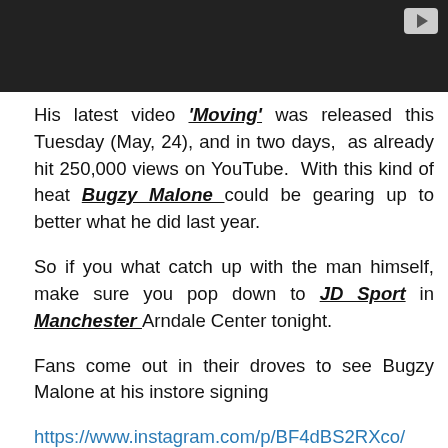[Figure (screenshot): Dark video thumbnail with a play button in the top-right corner]
His latest video 'Moving' was released this Tuesday (May, 24), and in two days,  as already hit 250,000 views on YouTube.  With this kind of heat Bugzy Malone could be gearing up to better what he did last year.
So if you what catch up with the man himself, make sure you pop down to JD Sport in Manchester Arndale Center tonight.
Fans come out in their droves to see Bugzy Malone at his instore signing
https://www.instagram.com/p/BF4dBS2RXco/
Bugzy Malone's 'Facing Time' E.P. is out on all digital